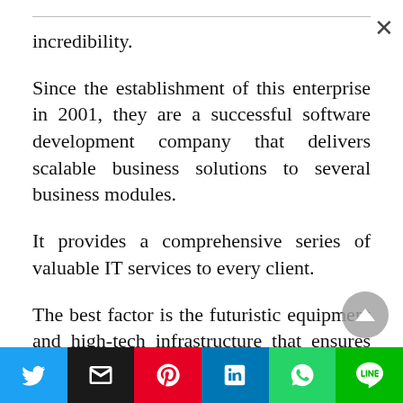incredibility.
Since the establishment of this enterprise in 2001, they are a successful software development company that delivers scalable business solutions to several business modules.
It provides a comprehensive series of valuable IT services to every client.
The best factor is the futuristic equipment and high-tech infrastructure that ensures the company
[Figure (infographic): Social share bar with Twitter, Email, Pinterest, LinkedIn, WhatsApp, and LINE buttons]